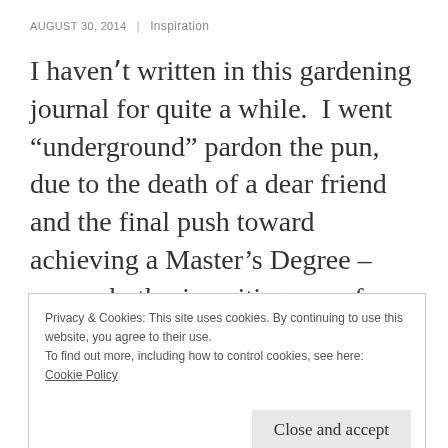AUGUST 30, 2014 | Inspiration
I havenʼt written in this gardening journal for quite a while.  I went “underground” pardon the pun, due to the death of a dear friend and the final push toward achieving a Master’s Degree – research, thesis writing, proofs and revisions that took me through the first few months of 2014.  But being busy with
Privacy & Cookies: This site uses cookies. By continuing to use this website, you agree to their use.
To find out more, including how to control cookies, see here:
Cookie Policy
Close and accept